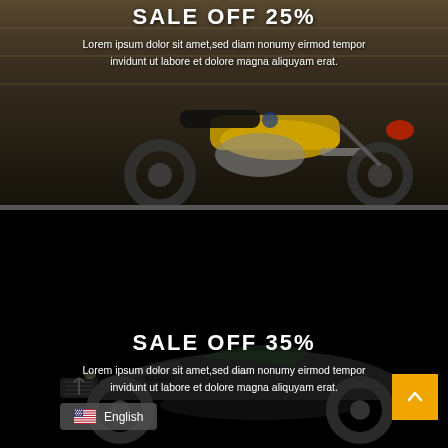[Figure (photo): Yellow motorcycle on dark background, top promotional banner]
SALE OFF 25%
Lorem ipsum dolor sit amet,sed diam nonumy eirmod tempor invidunt ut labore et dolore magna aliquyam erat.
[Figure (photo): Dark Maserati sports car on black background, bottom promotional banner]
SALE OFF 35%
Lorem ipsum dolor sit amet,sed diam nonumy eirmod tempor invidunt ut labore et dolore magna aliquyam erat.
English